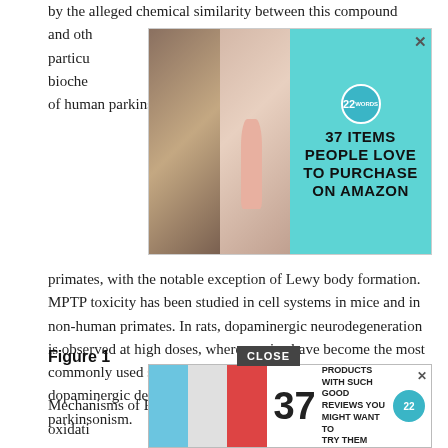by the alleged chemical similarity between this compound and other...particularly...biochem...stics of human parkinsonism in both human and non-human primates, with the notable exception of Lewy body formation. MPTP toxicity has been studied in cell systems in mice and in non-human primates. In rats, dopaminergic neurodegeneration is observed at high doses, whereas mice have become the most commonly used species for MPTP studies as they develop a dopaminergic degeneration that may be related to human parkinsonism.
[Figure (other): Advertisement banner: 37 ITEMS PEOPLE LOVE TO PURCHASE ON AMAZON with product images and 22 Words badge]
Figure 1
Mechanisms of PO and MPTP toxicity. PO can cause oxidati...r by activat...
[Figure (other): Bottom advertisement banner: 37 BEAUTY PRODUCTS WITH SUCH GOOD REVIEWS YOU MIGHT WANT TO TRY THEM YOURSELF with close button]